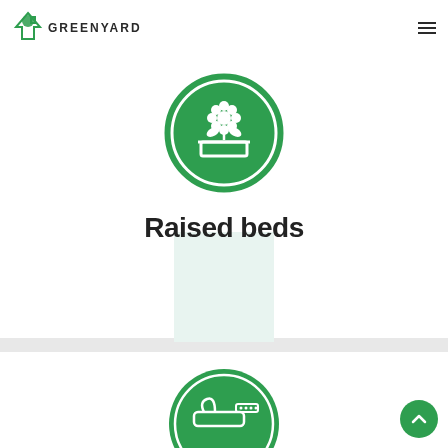GreenYard
[Figure (illustration): Green circular icon with a plant/flower in a raised garden bed, white icon on green background]
Raised beds
[Figure (illustration): Green circular icon with a chainsaw or power tool, white icon on green background, partially visible at bottom]
[Figure (illustration): Green circular back-to-top scroll button with upward chevron arrow, bottom right corner]